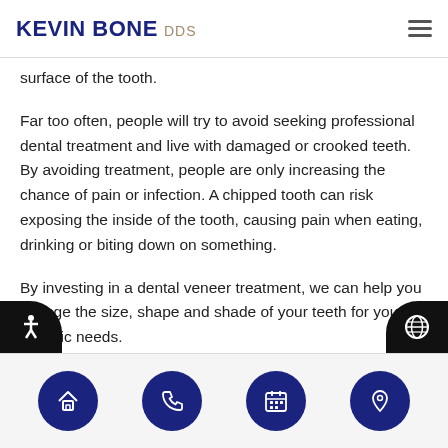KEVIN BONE DDS
surface of the tooth.
Far too often, people will try to avoid seeking professional dental treatment and live with damaged or crooked teeth. By avoiding treatment, people are only increasing the chance of pain or infection. A chipped tooth can risk exposing the inside of the tooth, causing pain when eating, drinking or biting down on something.
By investing in a dental veneer treatment, we can help you change the size, shape and shade of your teeth for your specific needs.